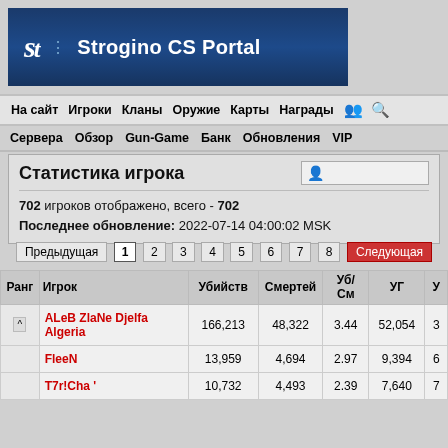[Figure (logo): Strogino CS Portal logo banner with dark blue background, stylized 'st' icon and text 'Strogino CS Portal']
На сайт  Игроки  Кланы  Оружие  Карты  Награды
Сервера  Обзор  Gun-Game  Банк  Обновления  VIP
Статистика игрока
702 игроков отображено, всего - 702
Последнее обновление: 2022-07-14 04:00:02 MSK
Предыдущая  1  2  3  4  5  6  7  8  Следующая
| Ранг | Игрок | Убийств | Смертей | Уб/См | УГ | У |
| --- | --- | --- | --- | --- | --- | --- |
|  | ALeB ZlaNe Djelfa Algeria | 166,213 | 48,322 | 3.44 | 52,054 | 3 |
|  | FleeN | 13,959 | 4,694 | 2.97 | 9,394 | 6 |
|  | T7r!Cha ' | 10,732 | 4,493 | 2.39 | 7,640 | 7 |